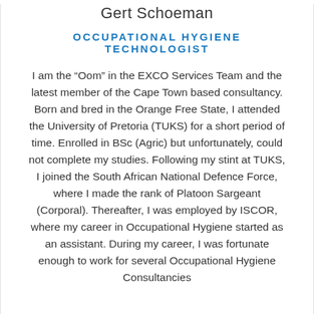Gert Schoeman
OCCUPATIONAL HYGIENE TECHNOLOGIST
I am the “Oom” in the EXCO Services Team and the latest member of the Cape Town based consultancy. Born and bred in the Orange Free State, I attended the University of Pretoria (TUKS) for a short period of time. Enrolled in BSc (Agric) but unfortunately, could not complete my studies. Following my stint at TUKS, I joined the South African National Defence Force, where I made the rank of Platoon Sargeant (Corporal). Thereafter, I was employed by ISCOR, where my career in Occupational Hygiene started as an assistant. During my career, I was fortunate enough to work for several Occupational Hygiene Consultancies